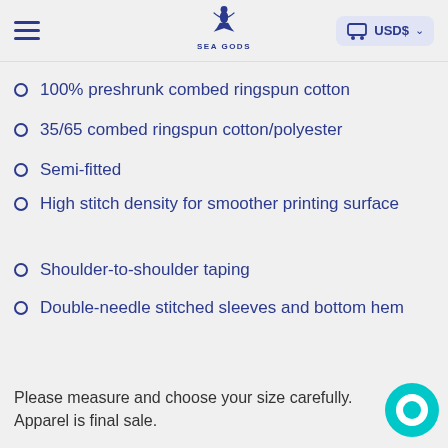SEA GODS — USD$
100% preshrunk combed ringspun cotton
35/65 combed ringspun cotton/polyester
Semi-fitted
High stitch density for smoother printing surface
Shoulder-to-shoulder taping
Double-needle stitched sleeves and bottom hem
Please measure and choose your size carefully. Apparel is final sale.